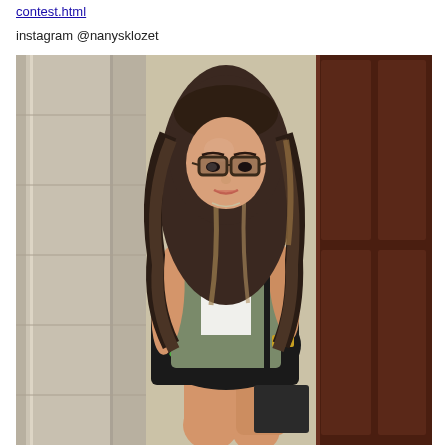contest.html
instagram @nanysklozet
[Figure (photo): A young woman with long wavy brunette/blonde highlighted hair wearing glasses, a white top, an olive/grey military-style sleeveless vest, and a black floral mini skirt with pink and green roses, standing in front of a stone column and dark wooden door, holding a dark purse with a gold cuff bracelet on her wrist.]